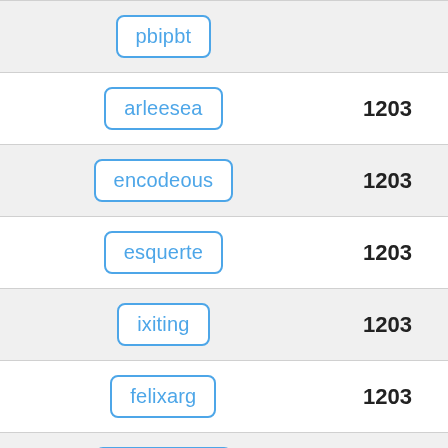| Username | Count |
| --- | --- |
| pbipbt (partial) |  |
| arleesea | 1203 |
| encodeous | 1203 |
| esquerte | 1203 |
| ixiting | 1203 |
| felixarg | 1203 |
| ev0kletska | 1203 |